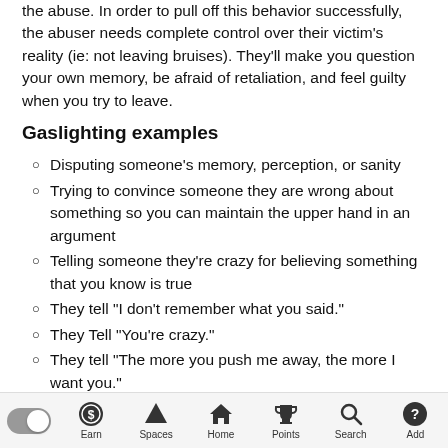the abuse. In order to pull off this behavior successfully, the abuser needs complete control over their victim’s reality (ie: not leaving bruises). They’ll make you question your own memory, be afraid of retaliation, and feel guilty when you try to leave.
Gaslighting examples
Disputing someone’s memory, perception, or sanity
Trying to convince someone they are wrong about something so you can maintain the upper hand in an argument
Telling someone they’re crazy for believing something that you know is true
They tell “I don’t remember what you said.”
They Tell “You’re crazy.”
They tell “The more you push me away, the more I want you.”
They tell “You can’t trust your memory because it’s
Earn  Spaces  Home  Points  Search  Add